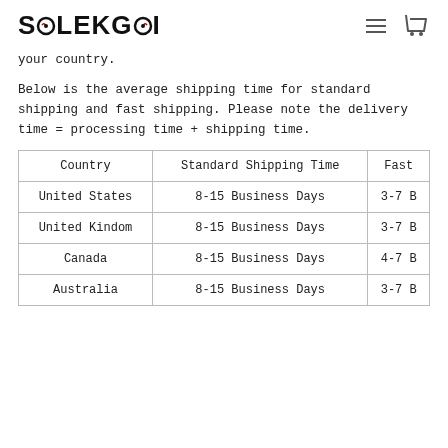SOLEKOI
your country.
Below is the average shipping time for standard shipping and fast shipping. Please note the delivery time = processing time + shipping time.
| Country | Standard Shipping Time | Fast |
| --- | --- | --- |
| United States | 8-15 Business Days | 3-7 B |
| United Kindom | 8-15 Business Days | 3-7 B |
| Canada | 8-15 Business Days | 4-7 B |
| Australia | 8-15 Business Days | 3-7 B |